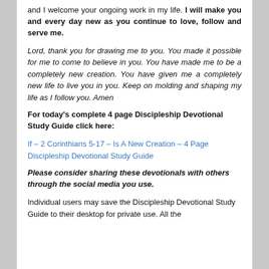and I welcome your ongoing work in my life. I will make you and every day new as you continue to love, follow and serve me.
Lord, thank you for drawing me to you. You made it possible for me to come to believe in you. You have made me to be a completely new creation. You have given me a completely new life to live you in you. Keep on molding and shaping my life as I follow you. Amen
For today's complete 4 page Discipleship Devotional Study Guide click here:
If – 2 Corinthians 5-17 – Is A New Creation – 4 Page Discipleship Devotional Study Guide
Please consider sharing these devotionals with others through the social media you use.
Individual users may save the Discipleship Devotional Study Guide to their desktop for private use. All the